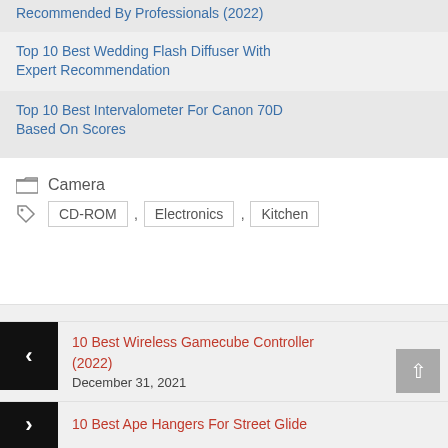Recommended By Professionals (2022)
Top 10 Best Wedding Flash Diffuser With Expert Recommendation
Top 10 Best Intervalometer For Canon 70D Based On Scores
Camera
CD-ROM , Electronics , Kitchen
10 Best Wireless Gamecube Controller (2022)
December 31, 2021
10 Best Ape Hangers For Street Glide